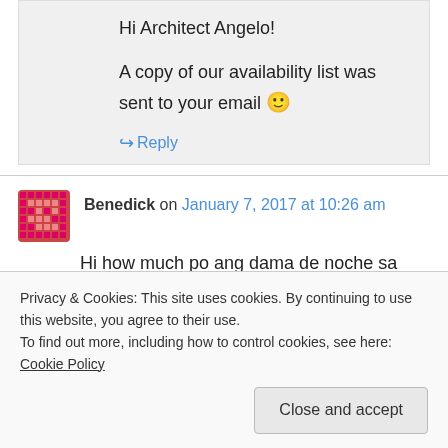Hi Architect Angelo!

A copy of our availability list was sent to your email 🙂
↪ Reply
Benedick on January 7, 2017 at 10:26 am
Hi how much po ang dama de noche sa inyo po? At anu po oras open kayo and location kapag commute panu papunta.
Privacy & Cookies: This site uses cookies. By continuing to use this website, you agree to their use.
To find out more, including how to control cookies, see here: Cookie Policy
Close and accept